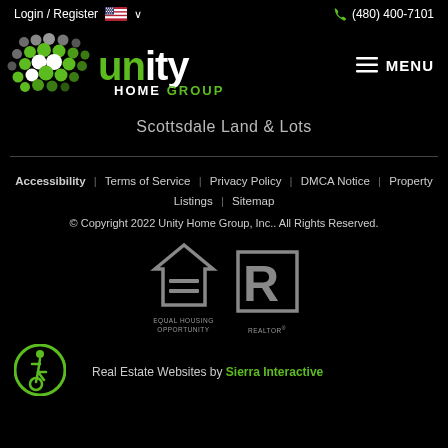Login / Register   🇺🇸 ∨   (480) 400-7101
[Figure (logo): Unity Home Group logo — green and white dot pattern with 'unity HOME GROUP' text]
Scottsdale Land & Lots
Accessibility | Terms of Service | Privacy Policy | DMCA Notice | Property Listings | Sitemap
© Copyright 2022 Unity Home Group, Inc.. All Rights Reserved.
[Figure (logo): Equal Housing Opportunity logo and REALTOR® logo]
Real Estate Websites by Sierra Interactive